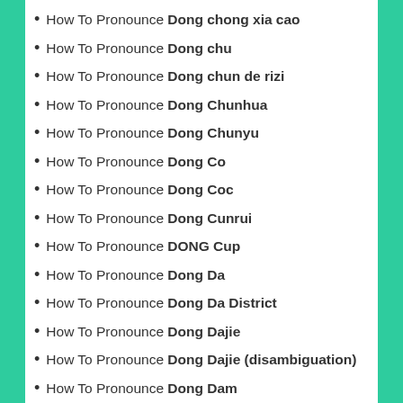How To Pronounce Dong chong xia cao
How To Pronounce Dong chu
How To Pronounce Dong chun de rizi
How To Pronounce Dong Chunhua
How To Pronounce Dong Chunyu
How To Pronounce Dong Co
How To Pronounce Dong Coc
How To Pronounce Dong Cunrui
How To Pronounce DONG Cup
How To Pronounce Dong Da
How To Pronounce Dong Da District
How To Pronounce Dong Dajie
How To Pronounce Dong Dajie (disambiguation)
How To Pronounce Dong Dam
How To Pronounce Dong Dang
How To Pronounce Dong Dang Railway Station
How To Pronounce Dong Dau culture
How To Pronounce Dong Ding tea
How To Pronounce Dong District
How To Pronounce Dong District, Busan
How To Pronounce Dong District, Daegu
How To Pronounce Dong District, Daejeon
How To Pronounce Dong District, Gwangju